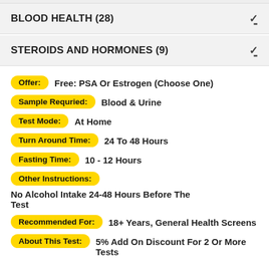BLOOD HEALTH (28)
STEROIDS AND HORMONES (9)
Offer: Free: PSA Or Estrogen (Choose One)
Sample Requried: Blood & Urine
Test Mode: At Home
Turn Around Time: 24 To 48 Hours
Fasting Time: 10 - 12 Hours
Other Instructions: No Alcohol Intake 24-48 Hours Before The Test
Recommended For: 18+ Years, General Health Screens
About This Test: 5% Add On Discount For 2 Or More Tests
What's Included?